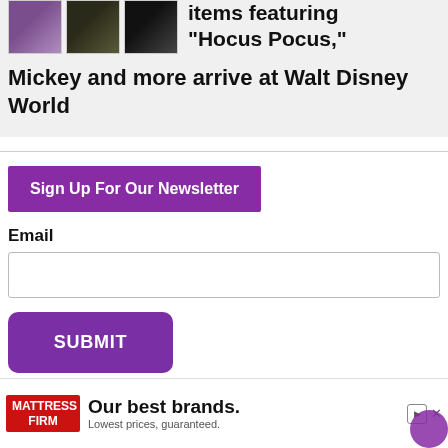[Figure (photo): Three small thumbnail images of Halloween/Disney merchandise: purple item, dark patterned item, black item]
items featuring “Hocus Pocus,” Mickey and more arrive at Walt Disney World
Sign Up For Our Newsletter
Email
[Figure (other): Mattress Firm advertisement banner: 'Our best brands. Lowest prices, guaranteed.']